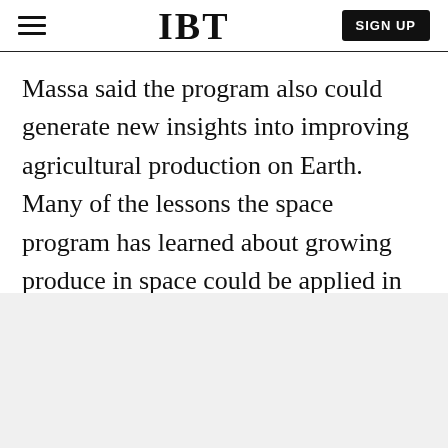IBT | SIGN UP
Massa said the program also could generate new insights into improving agricultural production on Earth. Many of the lessons the space program has learned about growing produce in space could be applied in urban plant factories and other agricultural settings, where electrical light and water conservation are necessary, she said.